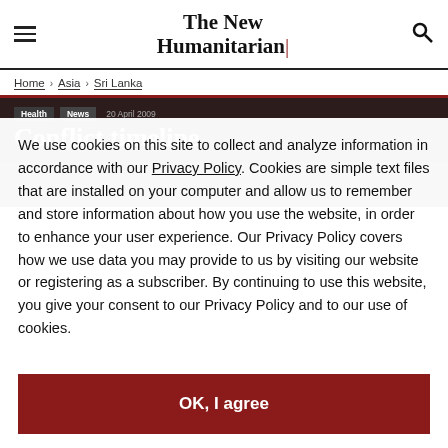The New Humanitarian
Home > Asia > Sri Lanka
Conflict timeline
We use cookies on this site to collect and analyze information in accordance with our Privacy Policy. Cookies are simple text files that are installed on your computer and allow us to remember and store information about how you use the website, in order to enhance your user experience. Our Privacy Policy covers how we use data you may provide to us by visiting our website or registering as a subscriber. By continuing to use this website, you give your consent to our Privacy Policy and to our use of cookies.
OK, I agree